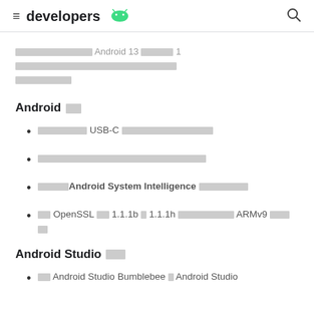developers [android logo]
[redacted] Android 13 [redacted] 1 [redacted]
Android [redacted]
[redacted] USB-C [redacted]
[redacted]
[redacted]Android System Intelligence [redacted]
[redacted] OpenSSL [redacted] 1.1.1b [redacted] 1.1.1h [redacted] ARMv9 [redacted]
Android Studio [redacted]
[redacted] Android Studio Bumblebee [redacted] Android Studio